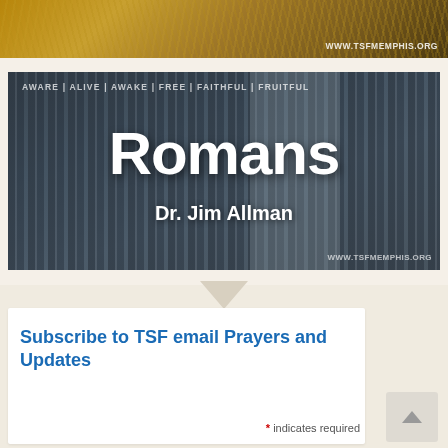[Figure (photo): Top banner image of wheat/grain field with golden tones and WWW.TSFMEMPHIS.ORG watermark in lower right]
[Figure (photo): Romans sermon series image featuring Greek/Roman columns background with text overlay reading 'AWARE | ALIVE | AWAKE | FREE | FAITHFUL | FRUITFUL', large bold white text 'Romans', subtitle 'Dr. Jim Allman', and WWW.TSFMEMPHIS.ORG watermark]
Subscribe to TSF email Prayers and Updates
* indicates required